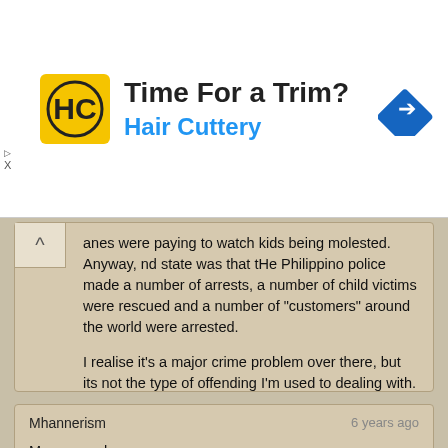[Figure (other): Hair Cuttery advertisement banner with logo, text 'Time For a Trim?' and 'Hair Cuttery', and a blue navigation arrow icon]
anes were paying to watch kids being molested. Anyway, nd state was that tHe Philippino police made a number of arrests, a number of child victims were rescued and a number of "customers" around the world were arrested.

I realise it's a major crime problem over there, but its not the type of offending I'm used to dealing with.
Mhannerism
6 years ago

Mazzmarach,
I didn't say it was a kapre. I just cited an example because I personally know someone who was impregnated by a kapre. I, too, thinks it's engkanto. Great to hear that it doesn't bother your girlfriend anymore. But one last question, do you think it could be killed?

2nd1st,
Same here, although I'm far from Cebu, your "distressing